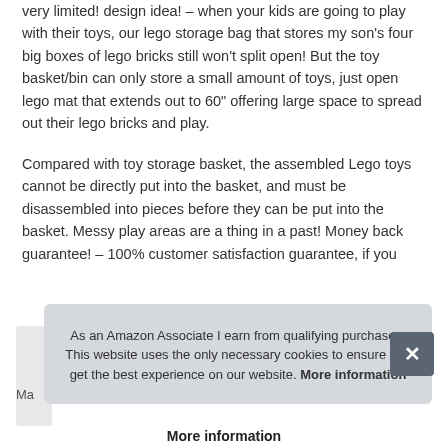very limited! design idea! – when your kids are going to play with their toys, our lego storage bag that stores my son's four big boxes of lego bricks still won't split open! But the toy basket/bin can only store a small amount of toys, just open lego mat that extends out to 60" offering large space to spread out their lego bricks and play.
Compared with toy storage basket, the assembled Lego toys cannot be directly put into the basket, and must be disassembled into pieces before they can be put into the basket. Messy play areas are a thing in a past! Money back guarantee! – 100% customer satisfaction guarantee, if you don't like it, get full refund.
As an Amazon Associate I earn from qualifying purchases. This website uses the only necessary cookies to ensure you get the best experience on our website. More information
More information